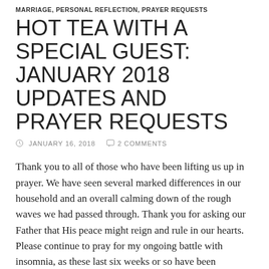MARRIAGE, PERSONAL REFLECTION, PRAYER REQUESTS
HOT TEA WITH A SPECIAL GUEST: JANUARY 2018 UPDATES AND PRAYER REQUESTS
JANUARY 16, 2018   2 COMMENTS
Thank you to all of those who have been lifting us up in prayer. We have seen several marked differences in our household and an overall calming down of the rough waves we had passed through. Thank you for asking our Father that His peace might reign and rule in our hearts. Please continue to pray for my ongoing battle with insomnia, as these last six weeks or so have been incredibly difficult and I've spent the majority of each night wide awake and unable to sleep more than a couple hours. (During the ensuing daytime hours I